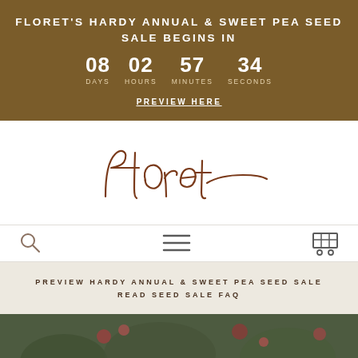FLORET'S HARDY ANNUAL & SWEET PEA SEED SALE BEGINS IN
08 DAYS  02 HOURS  57 MINUTES  34 SECONDS
PREVIEW HERE
[Figure (logo): Floret cursive signature logo in dark reddish-brown on white background]
[Figure (infographic): Navigation bar with search icon (magnifying glass), hamburger menu icon (three horizontal lines), and shopping cart icon]
PREVIEW HARDY ANNUAL & SWEET PEA SEED SALE
READ SEED SALE FAQ
[Figure (photo): Close-up photograph of frosted flower buds and botanical elements in muted green, red, and brown tones]